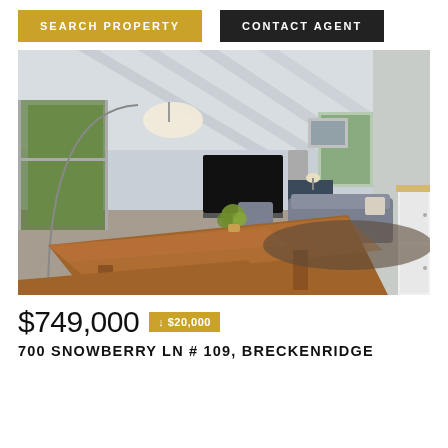SEARCH PROPERTY
CONTACT AGENT
[Figure (photo): Interior photo of a dining and living room area with wooden dining table with benches, gray sofa, flat-screen TV, large windows with outdoor greenery view, and white beamed ceiling.]
$749,000 ↓ $20,000
700 SNOWBERRY LN # 109, BRECKENRIDGE